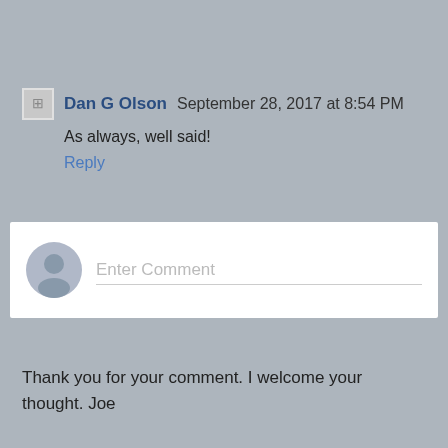Dan G Olson  September 28, 2017 at 8:54 PM
As always, well said!
Reply
Enter Comment
Thank you for your comment. I welcome your thought. Joe
Home
View web version
ABOUT ME
Joseph Lewis